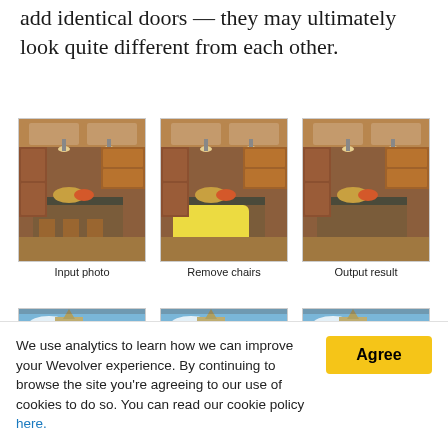add identical doors — they may ultimately look quite different from each other.
[Figure (photo): Three side-by-side kitchen photos labeled 'Input photo', 'Remove chairs', 'Output result'. The middle image shows a yellow mask over the chairs area.]
Input photo    Remove chairs    Output result
[Figure (photo): Three side-by-side photos of Big Ben clock tower. The middle image shows a yellow mask over part of the image.]
We use analytics to learn how we can improve your Wevolver experience. By continuing to browse the site you're agreeing to our use of cookies to do so. You can read our cookie policy here.